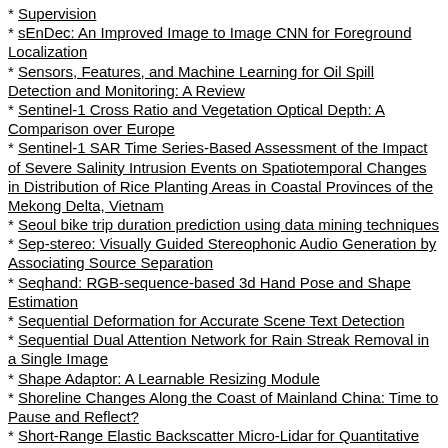* Supervision
* sEnDec: An Improved Image to Image CNN for Foreground Localization
* Sensors, Features, and Machine Learning for Oil Spill Detection and Monitoring: A Review
* Sentinel-1 Cross Ratio and Vegetation Optical Depth: A Comparison over Europe
* Sentinel-1 SAR Time Series-Based Assessment of the Impact of Severe Salinity Intrusion Events on Spatiotemporal Changes in Distribution of Rice Planting Areas in Coastal Provinces of the Mekong Delta, Vietnam
* Seoul bike trip duration prediction using data mining techniques
* Sep-stereo: Visually Guided Stereophonic Audio Generation by Associating Source Separation
* Seqhand: RGB-sequence-based 3d Hand Pose and Shape Estimation
* Sequential Deformation for Accurate Scene Text Detection
* Sequential Dual Attention Network for Rain Streak Removal in a Single Image
* Shape Adaptor: A Learnable Resizing Module
* Shoreline Changes Along the Coast of Mainland China: Time to Pause and Reflect?
* Short-Range Elastic Backscatter Micro-Lidar for Quantitative Aerosol Profiling with High Range and Temporal Resolution